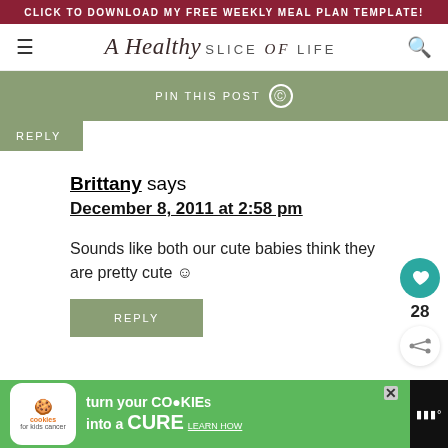CLICK TO DOWNLOAD MY FREE WEEKLY MEAL PLAN TEMPLATE!
[Figure (logo): A Healthy Slice of Life blog logo with script and sans-serif text]
PIN THIS POST
REPLY
Brittany says
December 8, 2011 at 2:58 pm
Sounds like both our cute babies think they are pretty cute ☺
REPLY
[Figure (screenshot): Cookies for Kids Cancer advertisement: turn your cookies into a CURE, Learn How]